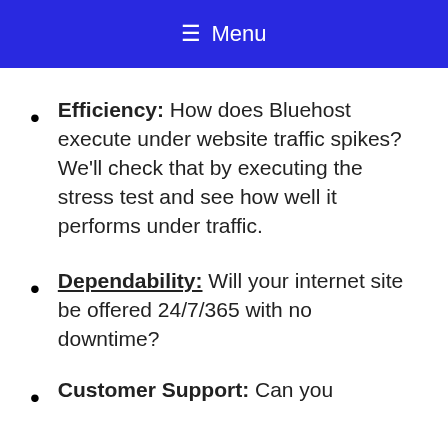≡ Menu
Efficiency: How does Bluehost execute under website traffic spikes? We'll check that by executing the stress test and see how well it performs under traffic.
Dependability: Will your internet site be offered 24/7/365 with no downtime?
Customer Support: Can you